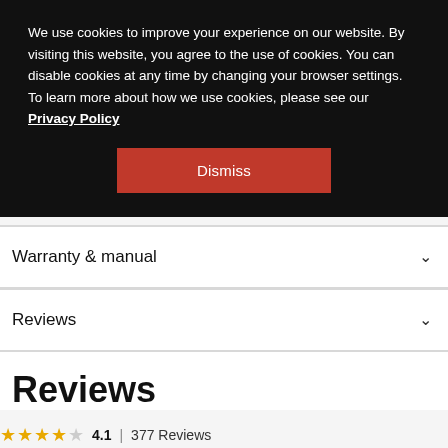We use cookies to improve your experience on our website. By visiting this website, you agree to the use of cookies. You can disable cookies at any time by changing your browser settings. To learn more about how we use cookies, please see our Privacy Policy
Dismiss
Warranty & manual
Reviews
Reviews
4.1 | 377 Reviews